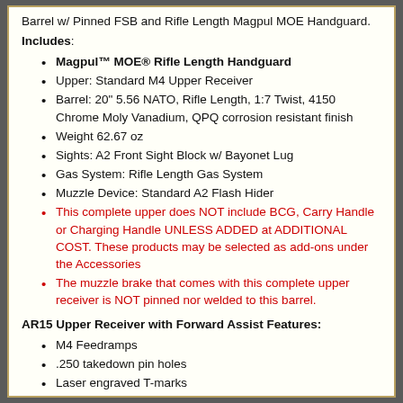Barrel w/ Pinned FSB and Rifle Length Magpul MOE Handguard.
Includes:
Magpul™ MOE® Rifle Length Handguard
Upper: Standard M4 Upper Receiver
Barrel: 20" 5.56 NATO, Rifle Length, 1:7 Twist, 4150 Chrome Moly Vanadium, QPQ corrosion resistant finish
Weight 62.67 oz
Sights: A2 Front Sight Block w/ Bayonet Lug
Gas System: Rifle Length Gas System
Muzzle Device: Standard A2 Flash Hider
This complete upper does NOT include BCG, Carry Handle or Charging Handle UNLESS ADDED at ADDITIONAL COST. These products may be selected as add-ons under the Accessories
The muzzle brake that comes with this complete upper receiver is NOT pinned nor welded to this barrel.
AR15 Upper Receiver with Forward Assist Features:
M4 Feedramps
.250 takedown pin holes
Laser engraved T-marks